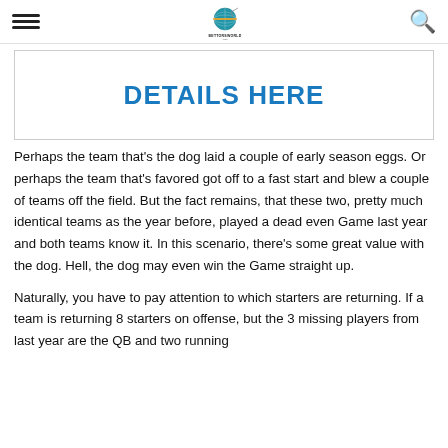[hamburger menu] BETTORSWORLD [search icon]
DETAILS HERE
Perhaps the team that's the dog laid a couple of early season eggs. Or perhaps the team that's favored got off to a fast start and blew a couple of teams off the field. But the fact remains, that these two, pretty much identical teams as the year before, played a dead even Game last year and both teams know it. In this scenario, there's some great value with the dog. Hell, the dog may even win the Game straight up.
Naturally, you have to pay attention to which starters are returning. If a team is returning 8 starters on offense, but the 3 missing players from last year are the QB and two running